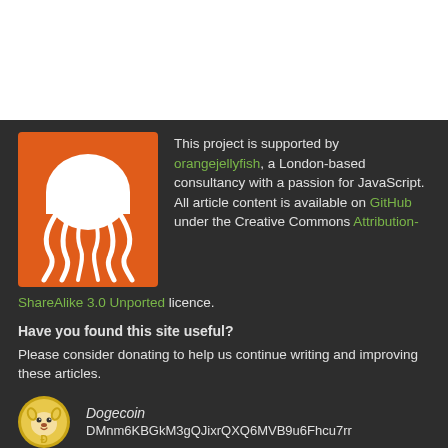[Figure (illustration): Orange square logo with a white jellyfish silhouette (orangejellyfish brand logo)]
This project is supported by orangejellyfish, a London-based consultancy with a passion for JavaScript. All article content is available on GitHub under the Creative Commons Attribution-ShareAlike 3.0 Unported licence.
Have you found this site useful?
Please consider donating to help us continue writing and improving these articles.
[Figure (logo): Dogecoin logo: circular gold coin with Shiba Inu dog and D symbol]
Dogecoin
DMnm6KBGkM3gQJixrQXQ6MVB9u6Fhcu7rr